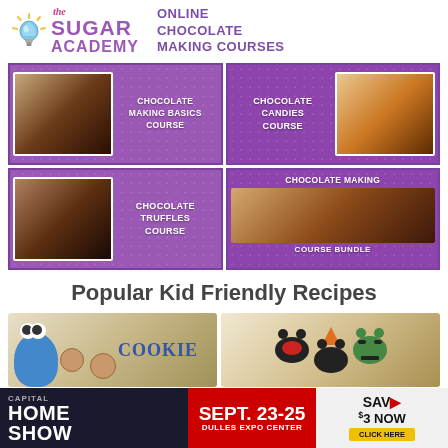[Figure (logo): The Sugar Academy logo with lightbulb icon and text 'the SUGAR ACADEMY' in purple/pink alongside 'ONLINE CHOCOLATE MAKING COURSES' in purple]
[Figure (infographic): 2x2 grid of chocolate course thumbnails on purple polka-dot backgrounds: Chocolate Making Basics Course, Chocolate Candies Course, Chocolate Truffles Course, Chocolate Making Course Bundle]
Popular Kid Friendly Recipes
[Figure (photo): Cookie Monster themed cookie pop with 'COOKIE' text lettering]
[Figure (photo): Halloween Mickey Mouse themed chocolate treats with witch hat, vampire, and Frankenstein designs]
[Figure (advertisement): Capital Home Show advertisement: Sept. 23-25, Dulles Expo Center, Save $3 Now, Click Here]